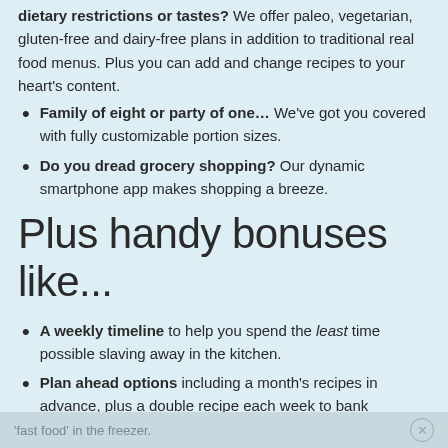dietary restrictions or tastes? We offer paleo, vegetarian, gluten-free and dairy-free plans in addition to traditional real food menus. Plus you can add and change recipes to your heart's content.
Family of eight or party of one... We've got you covered with fully customizable portion sizes.
Do you dread grocery shopping? Our dynamic smartphone app makes shopping a breeze.
Plus handy bonuses like...
A weekly timeline to help you spend the least time possible slaving away in the kitchen.
Plan ahead options including a month's recipes in advance, plus a double recipe each week to bank
'fast food' in the freezer.